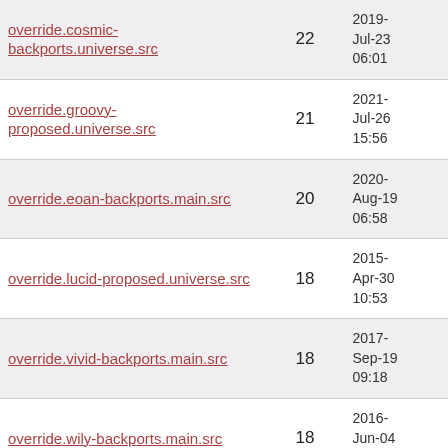| override.cosmic-backports.universe.src | 22 | 2019-Jul-23 06:01 |
| override.groovy-proposed.universe.src | 21 | 2021-Jul-26 15:56 |
| override.eoan-backports.main.src | 20 | 2020-Aug-19 06:58 |
| override.lucid-proposed.universe.src | 18 | 2015-Apr-30 10:53 |
| override.vivid-backports.main.src | 18 | 2017-Sep-19 09:18 |
| override.wily-backports.main.src | 18 | 2016-Jun-04 08:51 |
| override.trusty-proposed.main.src | 15 | 2020-Jun-06 06:47 |
| override.quantal-backports.main.src | 13 | 2014-Apr-04 21:44 |